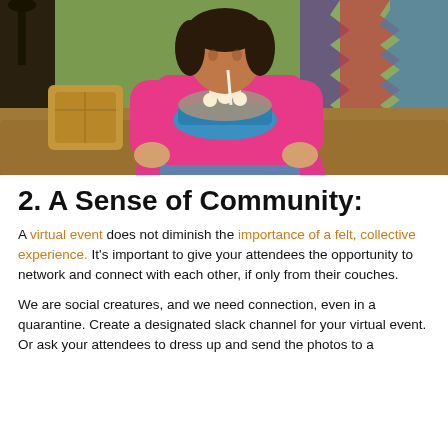[Figure (photo): Woman in pink hoodie sitting on a brown couch, holding a blue bowl of popcorn, with colorful pillows and a blanket in the background.]
2. A Sense of Community:
A virtual event does not diminish the importance of a felt, collective experience. It's important to give your attendees the opportunity to network and connect with each other, if only from their couches.
We are social creatures, and we need connection, even in a quarantine. Create a designated slack channel for your virtual event. Or ask your attendees to dress up and send the photos to a designated social media channel or community.